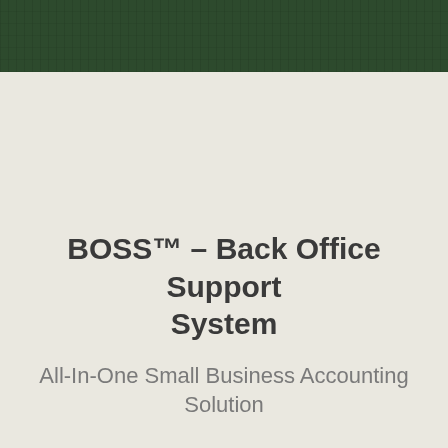[Figure (photo): Dark green header image with building/architectural grid texture overlay]
BOSS™ – Back Office Support System
All-In-One Small Business Accounting Solution
Get to know BOSS™
outstanding invoices in a